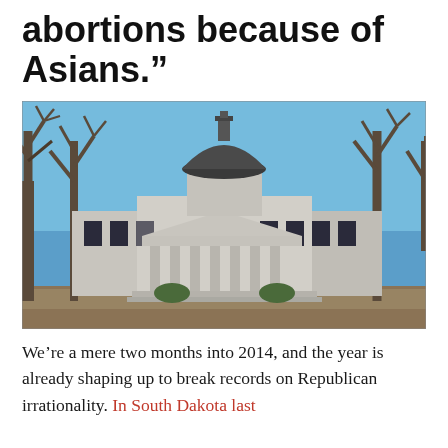abortions because of Asians.”
[Figure (photo): Exterior photograph of the South Dakota State Capitol building in Pierre, with a large domed roof and classical columns, surrounded by bare winter trees under a clear blue sky.]
We’re a mere two months into 2014, and the year is already shaping up to break records on Republican irrationality. In South Dakota last